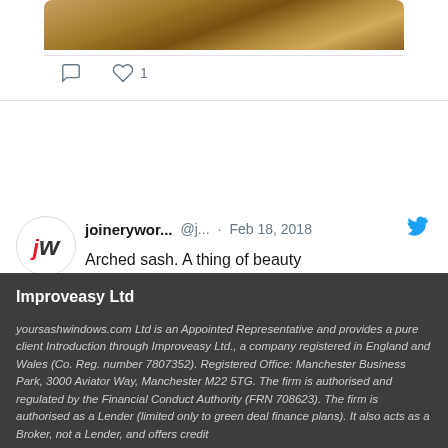[Figure (photo): Cropped top of a woodworking photo showing wooden pieces and tools]
[Figure (screenshot): Twitter/social media post by joinerywor... (@j...) on Feb 18, 2018 saying 'Arched sash. A thing of beauty' with a photo of woodworking workshop]
Improveasy Ltd
yoursashwindows.com Ltd is an Appointed Representative and provides a pure client Introduction through Improveasy Ltd., a company registered in England and Wales (Co. Reg. number 7807352). Registered Office: Manchester Business Park, 3000 Aviator Way, Manchester M22 5TG. The firm is authorised and regulated by the Financial Conduct Authority (FRN 708623). The firm is authorised as a Lender (limited only to green deal finance plans). It also acts as a Broker, not a Lender, and offers credit